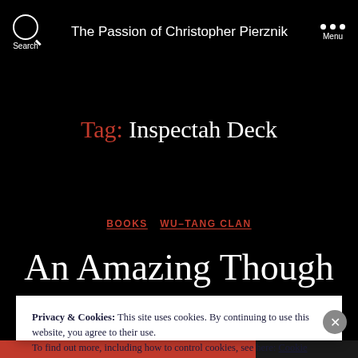The Passion of Christopher Pierznik
Tag: Inspectah Deck
BOOKS   WU-TANG CLAN
An Amazing Though
Privacy & Cookies: This site uses cookies. By continuing to use this website, you agree to their use.
To find out more, including how to control cookies, see here: Cookie Policy
CLOSE AND ACCEPT